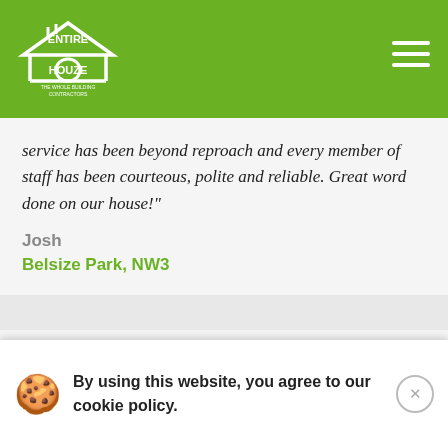Entire Houze - The Whole Building Contractors
service has been beyond reproach and every member of staff has been courteous, polite and reliable. Great word done on our house!"
Josh
Belsize Park, NW3
"You've been a great help. Your service is fantastic. I'm so glad I picked you guys."
Hampstead, NW3
By using this website, you agree to our cookie policy.